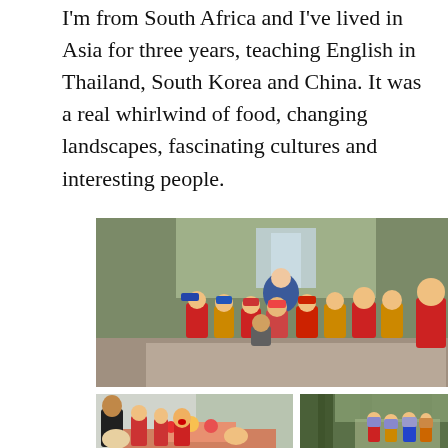I'm from South Africa and I've lived in Asia for three years, teaching English in Thailand, South Korea and China. It was a real whirlwind of food, changing landscapes, fascinating cultures and interesting people.
[Figure (photo): Group photo of a teacher and a class of children wearing colorful jackets and caps, standing outdoors in a park or garden setting with trees and a fountain in the background.]
[Figure (photo): Indoor photo showing a woman and children at a table with food, appearing to celebrate or share a meal.]
[Figure (photo): Outdoor photo showing children with backpacks hiking through a forest path lined with tall trees.]